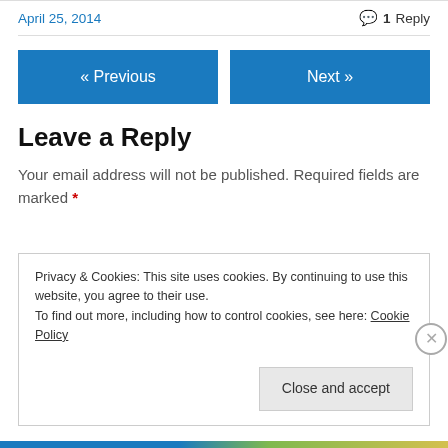April 25, 2014
1 Reply
« Previous
Next »
Leave a Reply
Your email address will not be published. Required fields are marked *
Privacy & Cookies: This site uses cookies. By continuing to use this website, you agree to their use.
To find out more, including how to control cookies, see here: Cookie Policy
Close and accept